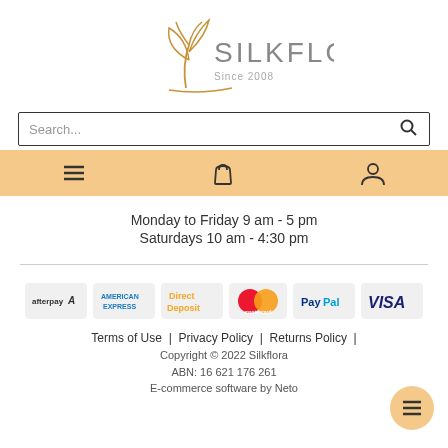[Figure (logo): Silkflora logo with decorative wheat/flower illustration and text 'SILKFLORA Since 2008']
[Figure (screenshot): Search bar with placeholder text 'Search...' and a magnifier icon]
[Figure (screenshot): Navigation bar with hamburger menu icon, shopping bag icon, and user/account icon on orange/tan background]
Monday to Friday 9 am - 5 pm
Saturdays 10 am - 4:30 pm
[Figure (infographic): Payment method badges: Afterpay, American Express, Direct Deposit, Mastercard, PayPal, VISA]
Terms of Use  |  Privacy Policy  |  Returns Policy  |
Copyright © 2022 Silkflora
ABN: 16 621 176 261
E-commerce software by Neto